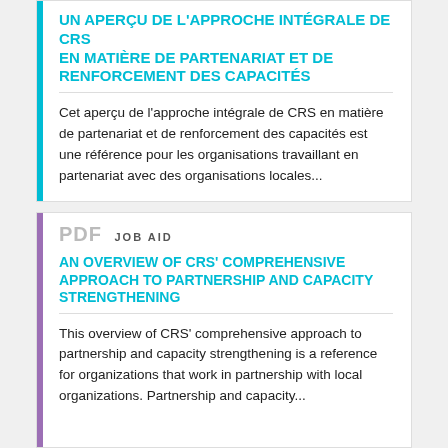UN APERÇU DE L'APPROCHE INTÉGRALE DE CRS EN MATIÈRE DE PARTENARIAT ET DE RENFORCEMENT DES CAPACITÉS
Cet aperçu de l'approche intégrale de CRS en matière de partenariat et de renforcement des capacités est une référence pour les organisations travaillant en partenariat avec des organisations locales...
PDF   JOB AID
AN OVERVIEW OF CRS' COMPREHENSIVE APPROACH TO PARTNERSHIP AND CAPACITY STRENGTHENING
This overview of CRS' comprehensive approach to partnership and capacity strengthening is a reference for organizations that work in partnership with local organizations. Partnership and capacity...